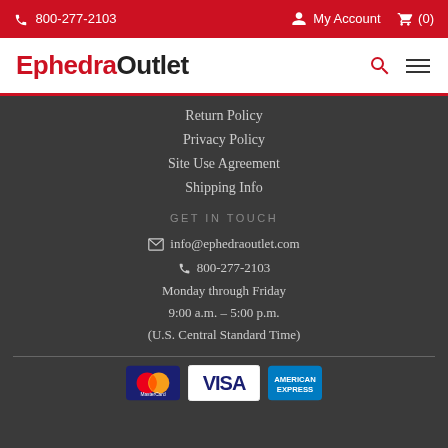📞 800-277-2103   My Account  🛒 (0)
EphedraOutlet
Return Policy
Privacy Policy
Site Use Agreement
Shipping Info
GET IN TOUCH
✉ info@ephedraoutlet.com
📞 800-277-2103
Monday through Friday
9:00 a.m. – 5:00 p.m.
(U.S. Central Standard Time)
[Figure (logo): Payment method logos: MasterCard, Visa, American Express]